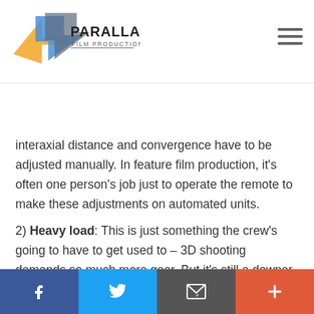Parallax Film Productions
1) Manual operation: It doesn't have all the fine... what the higher-end feature film rigs do. It lacks motorized components, so factors such as interaxial distance and convergence have to be adjusted manually. In feature film production, it's often one person's job just to operate the remote to make these adjustments on automated units.
2) Heavy load: This is just something the crew's going to have to get used to – 3D shooting demands so much more gear. But it's still a downer. Total tally: the rig, a tripod, two mid-sized cameras, the nano3D recorder, the Transvideo Cineform 3D Monitor, all the sync cables, and battery. We think it may take two extra bodies in the field...
Facebook Twitter Email Plus